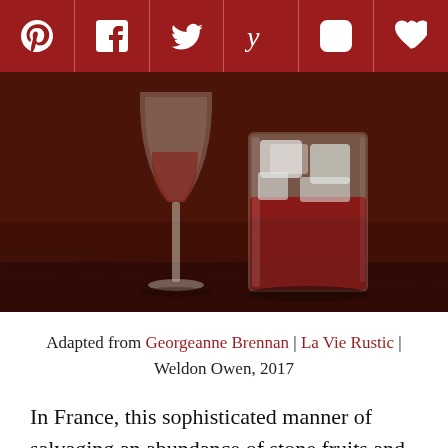[Figure (other): Social media sharing bar with Pinterest, Facebook, Twitter, Yummly, Flipboard, and heart/save icons on a dark red background]
[Figure (photo): Two cocktail glasses on a wooden table - a wine glass and a rocks/highball glass with a dark red/brown drink and ice cubes]
Adapted from Georgeanne Brennan | La Vie Rustic | Weldon Owen, 2017
In France, this sophisticated manner of salvaging an abundance of stone fruits and extending their season